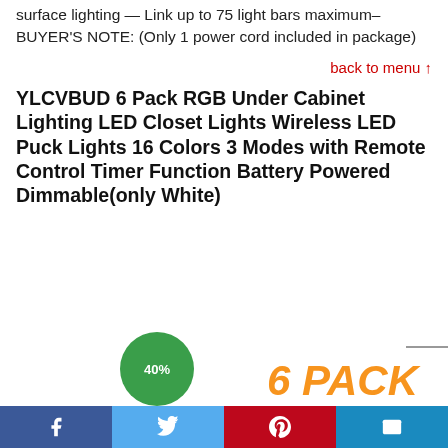surface lighting — Link up to 75 light bars maximum– BUYER'S NOTE: (Only 1 power cord included in package)
back to menu ↑
YLCVBUD 6 Pack RGB Under Cabinet Lighting LED Closet Lights Wireless LED Puck Lights 16 Colors 3 Modes with Remote Control Timer Function Battery Powered Dimmable(only White)
[Figure (other): Green circular badge showing '40%' discount, and orange bold italic '6 PACK' product label on white background]
[Figure (other): Social share bar at bottom with Facebook, Twitter, Pinterest, and Email buttons]